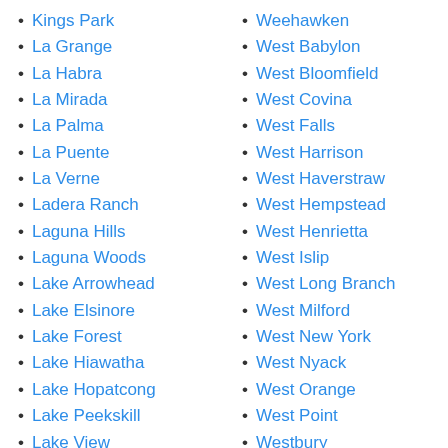Kings Park
La Grange
La Habra
La Mirada
La Palma
La Puente
La Verne
Ladera Ranch
Laguna Hills
Laguna Woods
Lake Arrowhead
Lake Elsinore
Lake Forest
Lake Hiawatha
Lake Hopatcong
Lake Peekskill
Lake View
Lakeville
Lancaster
Weehawken
West Babylon
West Bloomfield
West Covina
West Falls
West Harrison
West Haverstraw
West Hempstead
West Henrietta
West Islip
West Long Branch
West Milford
West New York
West Nyack
West Orange
West Point
Westbury
Westfield
Westley